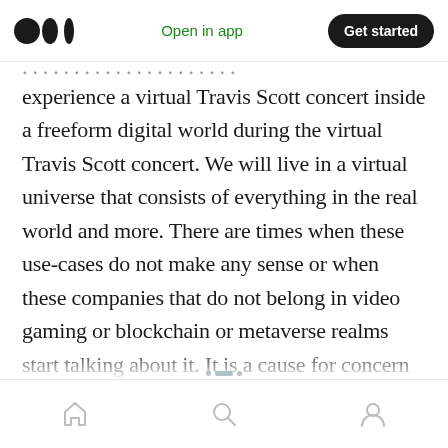Medium logo | Open in app | Get started
experience a virtual Travis Scott concert inside a freeform digital world during the virtual Travis Scott concert. We will live in a virtual universe that consists of everything in the real world and more. There are times when these use-cases do not make any sense or when these companies that do not belong in video gaming or blockchain or metaverse realms start talking about it. It is a cause for concern for us all, but it does not take anything away from where the market is headed.
Home | Search | Profile